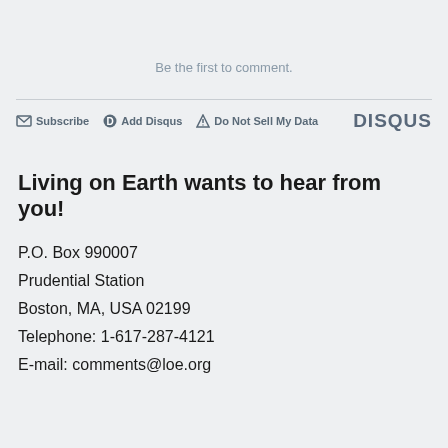Be the first to comment.
Subscribe  Add Disqus  Do Not Sell My Data   DISQUS
Living on Earth wants to hear from you!
P.O. Box 990007
Prudential Station
Boston, MA, USA 02199
Telephone: 1-617-287-4121
E-mail: comments@loe.org